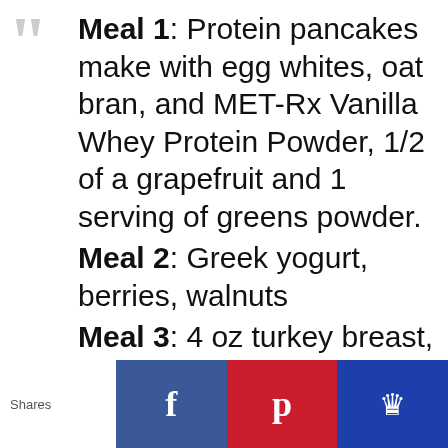Meal 1: Protein pancakes make with egg whites, oat bran, and MET-Rx Vanilla Whey Protein Powder, 1/2 of a grapefruit and 1 serving of greens powder. Meal 2: Greek yogurt, berries, walnuts Meal 3: 4 oz turkey breast, 4 oz sweet potato, green vegetables Meal 4: (Post workout snack)- MET-Rx Vanilla Whey Protein Isolate and a large apple
Shares